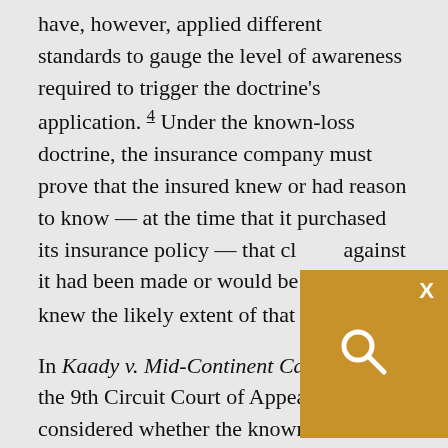have, however, applied different standards to gauge the level of awareness required to trigger the doctrine's application. 4 Under the known-loss doctrine, the insurance company must prove that the insured knew or had reason to know — at the time that it purchased its insurance policy — that claims against it had been made or would be made and knew the likely extent of that exposure. 5
In Kaady v. Mid-Continent Casualty Co. the 9th Circuit Court of Appeals considered whether the known-loss doctrine should be applied in a construction defect case. 6 The insured, Randy Kaady, was a mason who was hired under a subcontract to install manufactured stone and masonry caps at a project site. After the project was completed, Kaady was called back to the site to